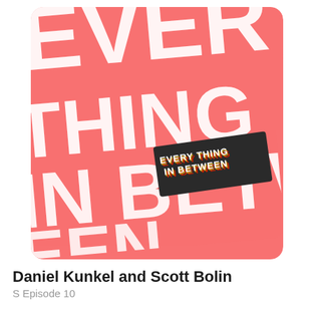[Figure (illustration): Podcast cover art for 'Everything In Between' — salmon/coral pink background with large white hand-painted brush lettering spelling 'EVERY THING IN BETW' repeated, and a smaller retro-styled badge in the center reading 'EVERYTHING IN BETWEEN' in yellow/black/red layered text.]
Daniel Kunkel and Scott Bolin
S Episode 10